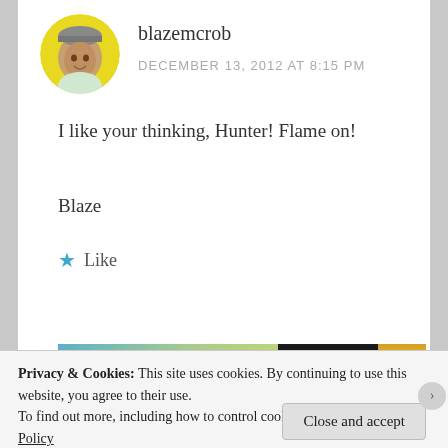[Figure (photo): Avatar photo of user blazemcrob in a circular crop with yellow background, showing a man wearing a cap]
blazemcrob
DECEMBER 13, 2012 AT 8:15 PM
I like your thinking, Hunter! Flame on!
Blaze
★ Like
Reply
[Figure (screenshot): Partial banner image showing a gradient teal/green on the left and dark/gold tones on the right with an Aa badge]
Privacy & Cookies: This site uses cookies. By continuing to use this website, you agree to their use.
To find out more, including how to control cookies, see here: Cookie Policy
Close and accept